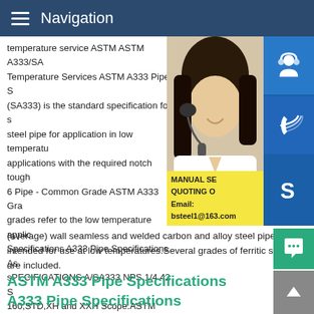Navigation
temperature service ASTM ASTM A333/SA Temperature Services ASTM A333 Pipe S (SA333) is the standard specification for s steel pipe for application in low temperatu applications with the required notch tough 6 Pipe - Common Grade ASTM A333 Gra grades refer to the low temperature applic Specifications A333 Pipe Specifications As sPECIFICATIONS A/SA333 NPS 1/4 42 S 160,STD,XH and XXH Scope.ASTM A333 (average) wall seamless and welded carbon and alloy steel pipe intended for use at low temperatures.Several grades of ferritic steel are included.
[Figure (photo): Photo of a woman wearing a headset, with blue icon buttons for customer service, phone, and Skype alongside. A yellow promotional box shows MANUAL SE, QUOTING O, and Email: bsteel1@163.com]
ASTM A333 Pipe Specifications A333 Pipe Specifications